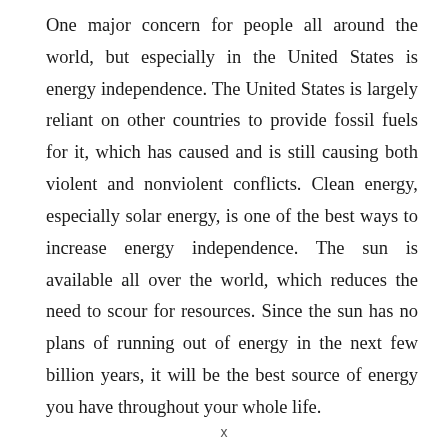One major concern for people all around the world, but especially in the United States is energy independence. The United States is largely reliant on other countries to provide fossil fuels for it, which has caused and is still causing both violent and nonviolent conflicts. Clean energy, especially solar energy, is one of the best ways to increase energy independence. The sun is available all over the world, which reduces the need to scour for resources. Since the sun has no plans of running out of energy in the next few billion years, it will be the best source of energy you have throughout your whole life.
x